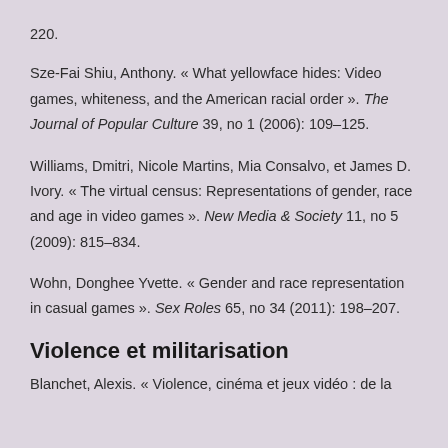220.
Sze-Fai Shiu, Anthony. « What yellowface hides: Video games, whiteness, and the American racial order ». The Journal of Popular Culture 39, no 1 (2006): 109–125.
Williams, Dmitri, Nicole Martins, Mia Consalvo, et James D. Ivory. « The virtual census: Representations of gender, race and age in video games ». New Media & Society 11, no 5 (2009): 815–834.
Wohn, Donghee Yvette. « Gender and race representation in casual games ». Sex Roles 65, no 34 (2011): 198–207.
Violence et militarisation
Blanchet, Alexis. « Violence, cinéma et jeux vidéo : de la